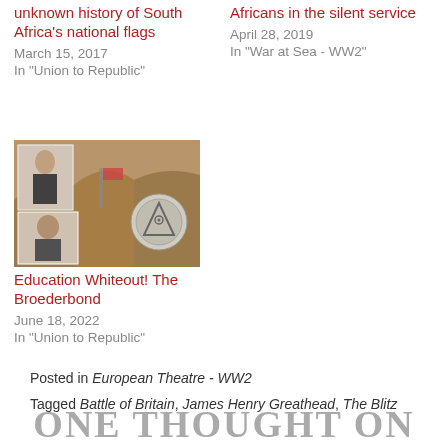unknown history of South Africa's national flags
March 15, 2017
In "Union to Republic"
Africans in the silent service
April 28, 2019
In "War at Sea - WW2"
[Figure (photo): Composite image showing historical figures and a painting of people with flags, plus a circular emblem]
Education Whiteout! The Broederbond
June 18, 2022
In "Union to Republic"
Posted in European Theatre - WW2
Tagged Battle of Britain, James Henry Greathead, The Blitz
ONE THOUGHT ON